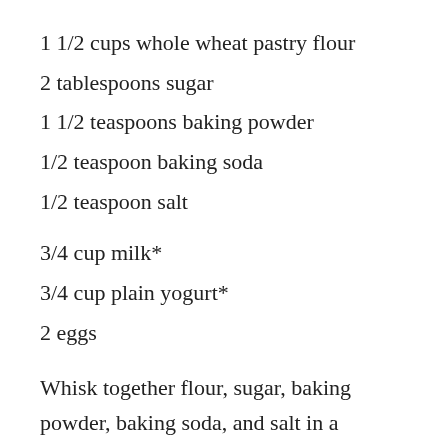1 1/2 cups whole wheat pastry flour
2 tablespoons sugar
1 1/2 teaspoons baking powder
1/2 teaspoon baking soda
1/2 teaspoon salt
3/4 cup milk*
3/4 cup plain yogurt*
2 eggs
Whisk together flour, sugar, baking powder, baking soda, and salt in a medium bowl. In a smaller bowl, whisk together milk, yogurt, and eggs (if you have a 2 or 4 cup glass measuring cup, you can measure and mix right in there!).  Add the wet ingredients to flour